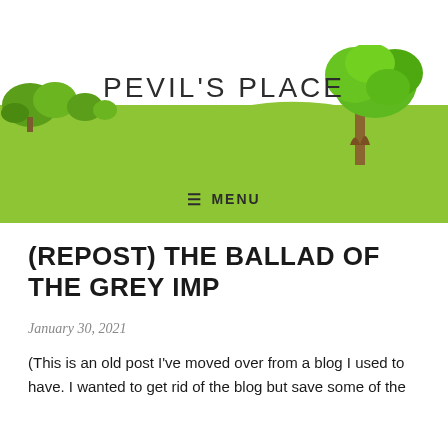[Figure (illustration): Blog header banner for 'Pevil's Place' showing a green meadow landscape with trees and grass, with the blog title overlaid in large light-weight sans-serif capital letters.]
PEVIL'S PLACE
≡ MENU
(REPOST) THE BALLAD OF THE GREY IMP
January 30, 2021
(This is an old post I've moved over from a blog I used to have. I wanted to get rid of the blog but save some of the